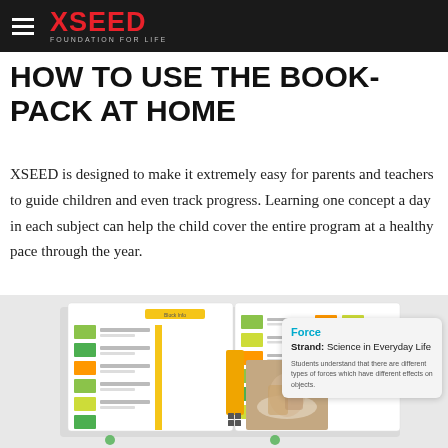XSEED FOUNDATION FOR LIFE
HOW TO USE THE BOOK-PACK AT HOME
XSEED is designed to make it extremely easy for parents and teachers to guide children and even track progress. Learning one concept a day in each subject can help the child cover the entire program at a healthy pace through the year.
[Figure (photo): Open XSEED book spread showing contents pages with colorful thumbnail images and yellow/orange design elements. A callout shows Block 21 with a pottery image. An info card overlay shows 'Force, Strand: Science in Everyday Life' with description text.]